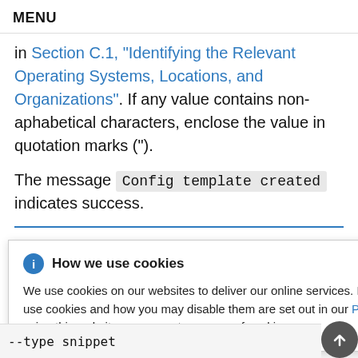MENU
in Section C.1, "Identifying the Relevant Operating Systems, Locations, and Organizations". If any value contains non-aphabetical characters, enclose the value in quotation marks (").
The message Config template created indicates success.
[Figure (other): Cookie consent banner overlay with title 'How we use cookies', info icon, close button, and body text about cookie usage with a Privacy Statement link.]
--type snippet